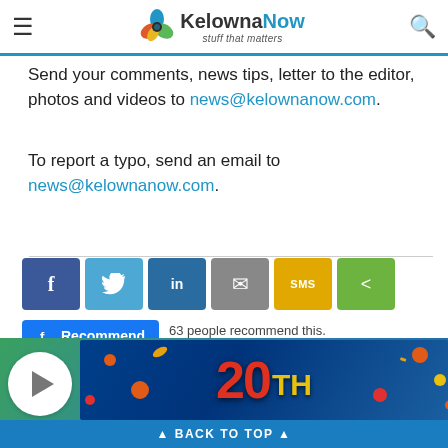KelownaNow — stuff that matters
Send your comments, news tips, letter to the editor, photos and videos to news@kelownanow.com.
To report a typo, send an email to news@kelownanow.com.
[Figure (infographic): Social share buttons row: Facebook (f), Twitter (bird), LinkedIn (in), Email (envelope), SMS, Share icons in blue, teal, navy, grey, yellow, green buttons. Below: Facebook Recommend button with text '63 people recommend this. Sign Up to see what your...']
[Figure (infographic): Bottom section with green/blue gradient background. Play button circle on left. 20TH anniversary advertisement banner on right. BACK TO TOP bar at very bottom.]